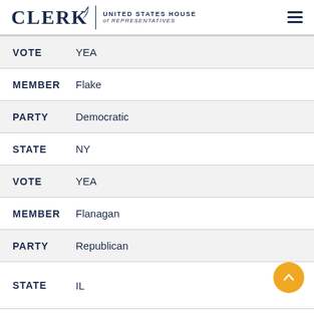CLERK United States House of Representatives
| Field | Value |
| --- | --- |
| VOTE | YEA |
| MEMBER | Flake |
| PARTY | Democratic |
| STATE | NY |
| VOTE | YEA |
| MEMBER | Flanagan |
| PARTY | Republican |
| STATE | IL (partial) |